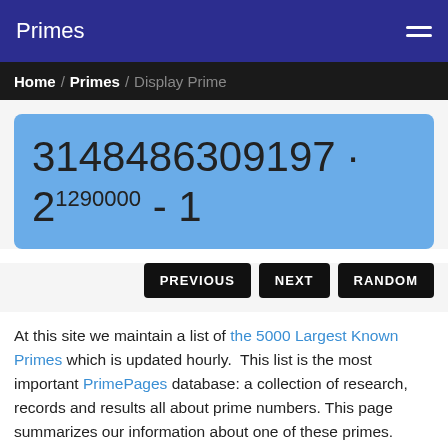Primes
Home / Primes / Display Prime
At this site we maintain a list of the 5000 Largest Known Primes which is updated hourly. This list is the most important PrimePages database: a collection of research, records and results all about prime numbers. This page summarizes our information about one of these primes.